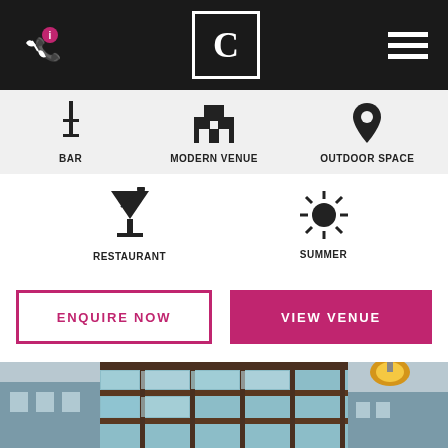Header bar with phone/info icon, C logo, hamburger menu
[Figure (infographic): Row of venue feature icons: BAR (wine glass icon), MODERN VENUE (building icon), OUTDOOR SPACE (map pin icon)]
[Figure (infographic): Row of venue feature icons: RESTAURANT (cocktail glass icon), SUMMER (sun icon)]
ENQUIRE NOW
VIEW VENUE
[Figure (photo): Interior photo of a modern venue with glass ceiling, pendant lamp, and city view in background]